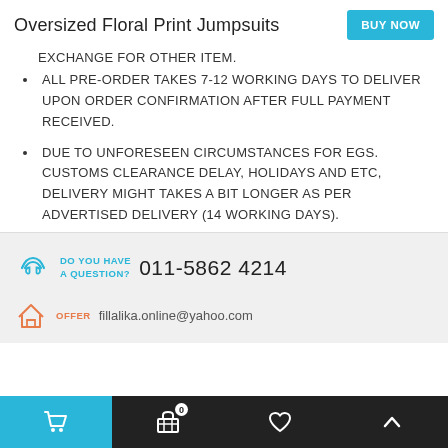Oversized Floral Print Jumpsuits
EXCHANGE FOR OTHER ITEM.
ALL PRE-ORDER TAKES 7-12 WORKING DAYS TO DELIVER UPON ORDER CONFIRMATION AFTER FULL PAYMENT RECEIVED.
DUE TO UNFORESEEN CIRCUMSTANCES FOR EGS. CUSTOMS CLEARANCE DELAY, HOLIDAYS AND ETC, DELIVERY MIGHT TAKES A BIT LONGER AS PER ADVERTISED DELIVERY (14 WORKING DAYS).
DO YOU HAVE A QUESTION? 011-5862 4214
OFFER fillalika.online@yahoo.com